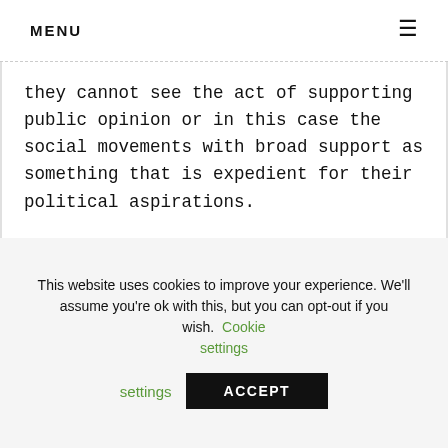MENU
they cannot see the act of supporting public opinion or in this case the social movements with broad support as something that is expedient for their political aspirations.
The issue to be resolved is the degree to which decentralization is feasible to
This website uses cookies to improve your experience. We'll assume you're ok with this, but you can opt-out if you wish. Cookie settings ACCEPT